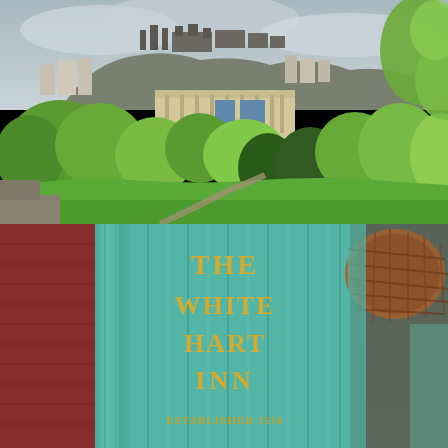[Figure (photo): Aerial/elevated view of Edinburgh, Scotland. Green manicured gardens and hedged trees in the foreground with a winding path, a neoclassical building (Scottish National Gallery) in the middle ground, and Edinburgh Castle perched on a rocky hill in the background under a cloudy sky. Leafy tree branches visible in upper right corner.]
[Figure (photo): Close-up photograph of a teal/green painted pub sign with gold lettering reading 'THE WHITE HART INN' and below it 'ESTABLISHED 1516'. A decorative hanging basket is partially visible in the upper right corner. Behind the sign, red-brick building facades are visible.]